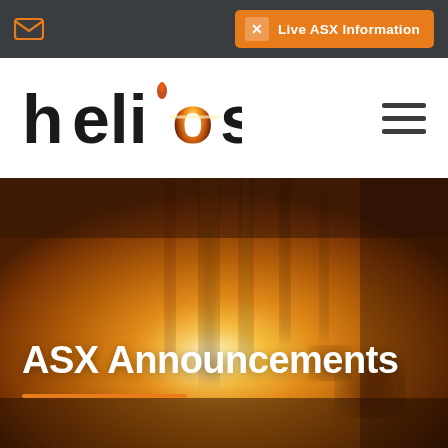Live ASX Information
[Figure (logo): Helios company logo with flame motif on the letter 'i']
[Figure (photo): Blurred warm orange/amber toned background photo of hanging/suspended objects with bright light source, used as hero banner for ASX Announcements page]
ASX Announcements